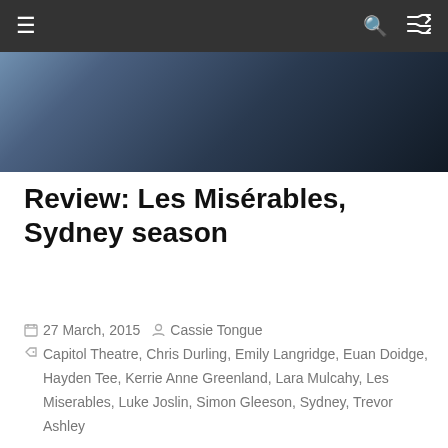Navigation bar with hamburger menu, search and shuffle icons
[Figure (photo): Dark blue theatrical stage photo, partial view showing performers in costume]
Review: Les Misérables, Sydney season
27 March, 2015  Cassie Tongue  Capitol Theatre, Chris Durling, Emily Langridge, Euan Doidge, Hayden Tee, Kerrie Anne Greenland, Lara Mulcahy, Les Miserables, Luke Joslin, Simon Gleeson, Sydney, Trevor Ashley
It's an epic musical, a towering behemoth from the 1980s – an era that spawned plenty of them, like Cats
Read more
[Figure (photo): Partial photo of a person at bottom of page]